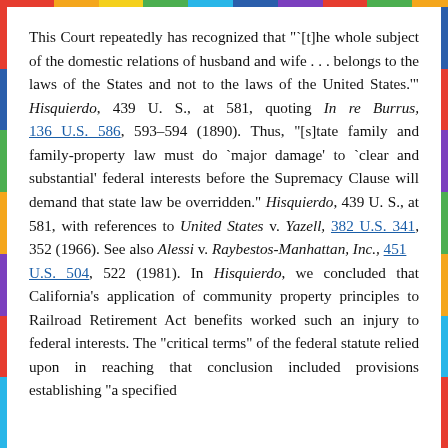This Court repeatedly has recognized that "`[t]he whole subject of the domestic relations of husband and wife . . . belongs to the laws of the States and not to the laws of the United States.'" Hisquierdo, 439 U. S., at 581, quoting In re Burrus, 136 U.S. 586, 593–594 (1890). Thus, "[s]tate family and family-property law must do `major damage' to `clear and substantial' federal interests before the Supremacy Clause will demand that state law be overridden." Hisquierdo, 439 U. S., at 581, with references to United States v. Yazell, 382 U.S. 341, 352 (1966). See also Alessi v. Raybestos-Manhattan, Inc., 451 U.S. 504, 522 (1981). In Hisquierdo, we concluded that California's application of community property principles to Railroad Retirement Act benefits worked such an injury to federal interests. The "critical terms" of the federal statute relied upon in reaching that conclusion included provisions establishing "a specified